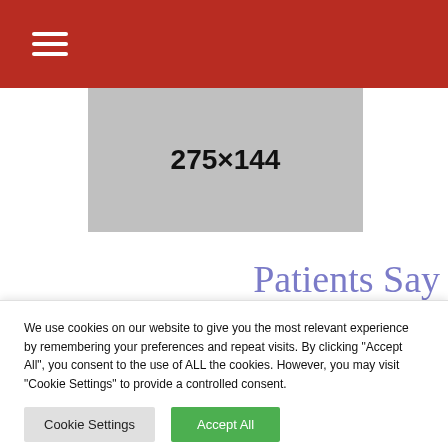≡ (hamburger menu icon)
[Figure (other): Grey placeholder image rectangle showing dimensions 275×144]
Patients Say
We use cookies on our website to give you the most relevant experience by remembering your preferences and repeat visits. By clicking "Accept All", you consent to the use of ALL the cookies. However, you may visit "Cookie Settings" to provide a controlled consent.
Cookie Settings | Accept All